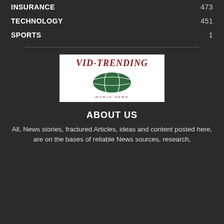INSURANCE 473
TECHNOLOGY 451
SPORTS 1
[Figure (logo): VID-TRENDING World News logo: white background with red italic brand name and dark green oval/globe icon with line detail, 'WORLD NEWS' text below.]
ABOUT US
All, News stories, fractured Articles, ideas and content posted here, are on the bases of reliable News sources, research,